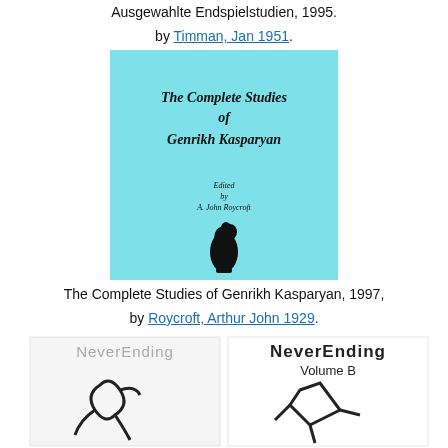Ausgewahlte Endspielstudien, 1995.
by Timman, Jan 1951.
[Figure (photo): Book cover of 'The Complete Studies of Genrikh Kasparyan', light blue cover with black text and a chess piece (knight) silhouette at bottom. Edited by A. John Roycroft.]
The Complete Studies of Genrikh Kasparyan, 1997,
by Roycroft, Arthur John 1929.
[Figure (photo): Two book covers for 'NeverEnding' chess books — left shows NeverEnding with an abstract figure, right shows NeverEnding Volume B with a different abstract figure.]